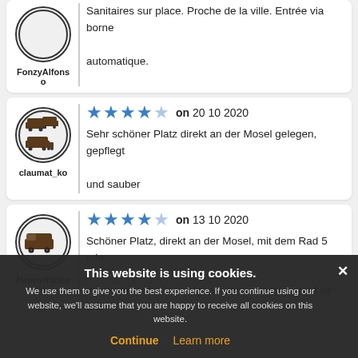FonzyAlfonso
Sanitaires sur place. Proche de la ville. Entrée via borne automatique.
[Figure (illustration): Circular avatar with campervan/motorhome icons]
claumat_ko
★★★★☆ on 20 10 2020
Sehr schöner Platz direkt an der Mosel gelegen, gepflegt und sauber
[Figure (illustration): Circular avatar with motorhome icon]
Happythirteen
★★★★☆ on 13 10 2020
Schöner Platz, direkt an der Mosel, mit dem Rad 5 min zur Innenstadt. Nur aufgepasst, wenn man drauf ist und ...
This website is using cookies. We use them to give you the best experience. If you continue using our website, we'll assume that you are happy to receive all cookies on this website.